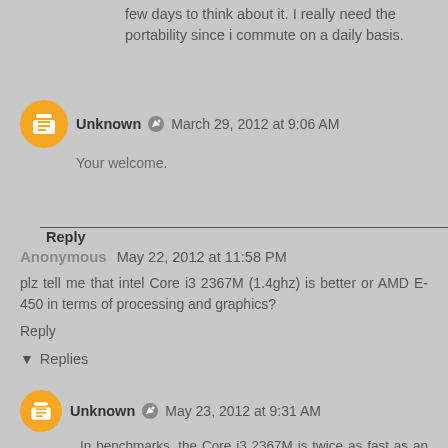few days to think about it. I really need the portability since i commute on a daily basis.
Unknown  March 29, 2012 at 9:06 AM
Your welcome.
Reply
Anonymous  May 22, 2012 at 11:58 PM
plz tell me that intel Core i3 2367M (1.4ghz) is better or AMD E-450 in terms of processing and graphics?
Reply
▼ Replies
Unknown  May 23, 2012 at 9:31 AM
In benchmarks, the Core i3 2367M is twice as fast as an AMD-450 overall. In terms of